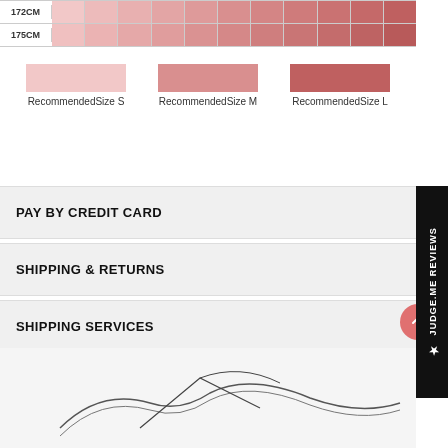[Figure (table-as-image): Color swatch grid showing size-color recommendations for heights 172CM and 175CM, with cells ranging from light pink to dark mauve]
[Figure (infographic): Legend showing three color swatches: light pink for Recommended Size S, medium pink for Recommended Size M, dark mauve for Recommended Size L]
PAY BY CREDIT CARD
SHIPPING & RETURNS
SHIPPING SERVICES
[Figure (illustration): Line drawing of a curved garment or fabric silhouette on grey background]
★ JUDGE.ME REVIEWS